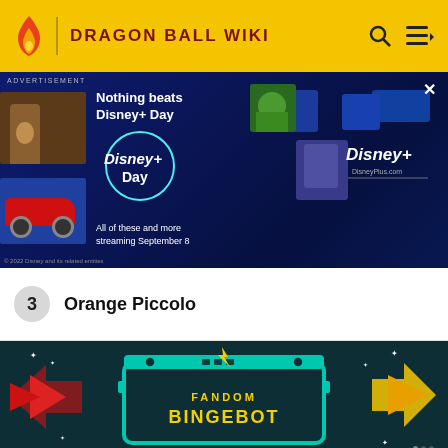DRAGON BALL WIKI
[Figure (screenshot): Disney+ Day advertisement banner showing Disney+ logo, streaming content thumbnails, and text 'Nothing beats Disney+ Day. All of these and more streaming September 8']
3  Orange Piccolo
[Figure (screenshot): Fandom BingeBot promotional banner with teal gaming device frame, yellow lightning bolt, navigation arrows, and text 'FANDOM BINGEBOT' on dark teal background]